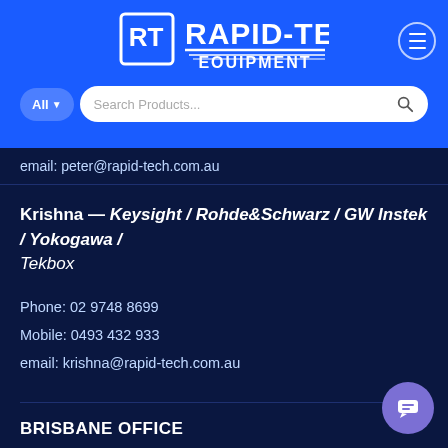[Figure (logo): Rapid-Tech Equipment logo with RT monogram in white on blue background]
email: peter@rapid-tech.com.au
Krishna — Keysight / Rohde&Schwarz / GW Instek / Yokogawa / Tekbox
Phone: 02 9748 8699
Mobile: 0493 432 933
email: krishna@rapid-tech.com.au
BRISBANE OFFICE